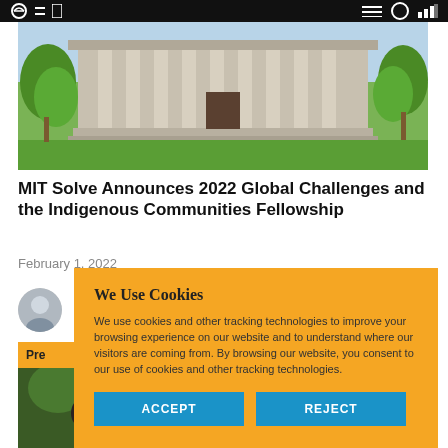[Figure (photo): MIT building with columns, green lawn and trees in front]
MIT Solve Announces 2022 Global Challenges and the Indigenous Communities Fellowship
February 1, 2022
[Figure (photo): Author profile photo - circular avatar of a woman]
[Figure (photo): Partial preview image at bottom left, appears to show a person outdoors]
We Use Cookies
We use cookies and other tracking technologies to improve your browsing experience on our website and to understand where our visitors are coming from. By browsing our website, you consent to our use of cookies and other tracking technologies.